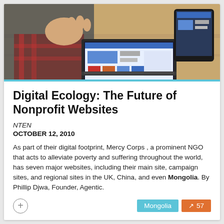[Figure (photo): Person gesturing with hand near laptop computer on a wooden desk, with a tablet visible in background displaying a website/dashboard]
Digital Ecology: The Future of Nonprofit Websites
NTEN
OCTOBER 12, 2010
As part of their digital footprint, Mercy Corps , a prominent NGO that acts to alleviate poverty and suffering throughout the world, has seven major websites, including their main site, campaign sites, and regional sites in the UK, China, and even Mongolia. By Phillip Djwa, Founder, Agentic.